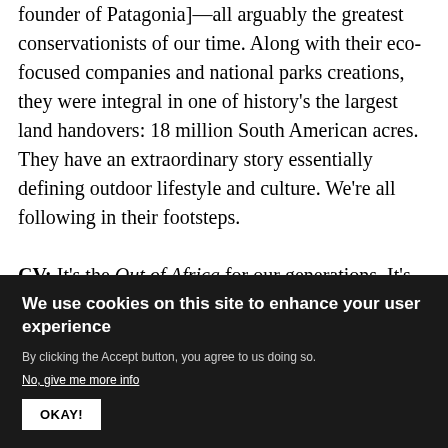founder of Patagonia]—all arguably the greatest conservationists of our time. Along with their eco-focused companies and national parks creations, they were integral in one of history's the largest land handovers: 18 million South American acres. They have an extraordinary story essentially defining outdoor lifestyle and culture. We're all following in their footsteps.

CV: It's the Out of Africa for our generations. It's the radical-living love story that can inspire people with this idea that we have only a finite amount of time on this earth; what are we going to do to save it?
We use cookies on this site to enhance your user experience
By clicking the Accept button, you agree to us doing so.
No, give me more info
OKAY!